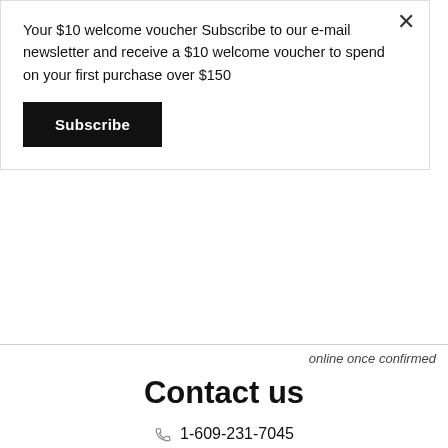Your $10 welcome voucher Subscribe to our e-mail newsletter and receive a $10 welcome voucher to spend on your first purchase over $150
Subscribe
online once confirmed
Contact us
1-609-231-7045
islandstudiopottery@me.com
islandstudio.org